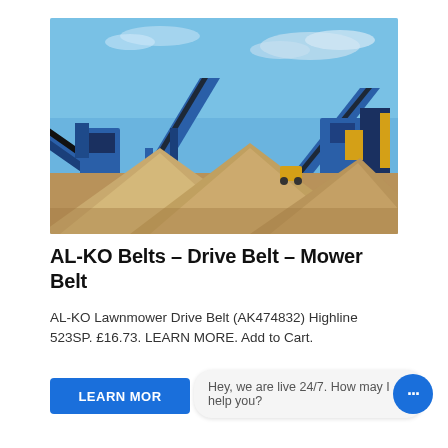[Figure (photo): Industrial quarry/mining site with blue conveyor belt machinery and large sand/gravel piles under a blue sky with light clouds.]
AL-KO Belts – Drive Belt – Mower Belt
AL-KO Lawnmower Drive Belt (AK474832) Highline 523SP. £16.73. LEARN MORE. Add to Cart.
LEARN MOR
Hey, we are live 24/7. How may I help you?